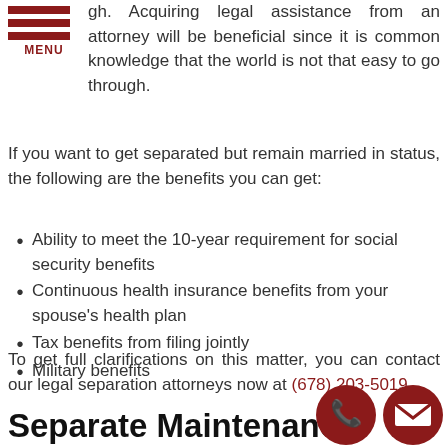[Figure (other): Menu icon with three horizontal dark red bars and the label MENU below]
gh. Acquiring legal assistance from an attorney will be beneficial since it is common knowledge that the world is not that easy to go through.
If you want to get separated but remain married in status, the following are the benefits you can get:
Ability to meet the 10-year requirement for social security benefits
Continuous health insurance benefits from your spouse's health plan
Tax benefits from filing jointly
Military benefits
To get full clarifications on this matter, you can contact our legal separation attorneys now at (678) 203-5019.
Separate Maintenance
Since legal separation is not granted in Georgia, you and your spouse can opt for separate maintenance instead. This process is much like Georgia's equivalent legal separation procedure.